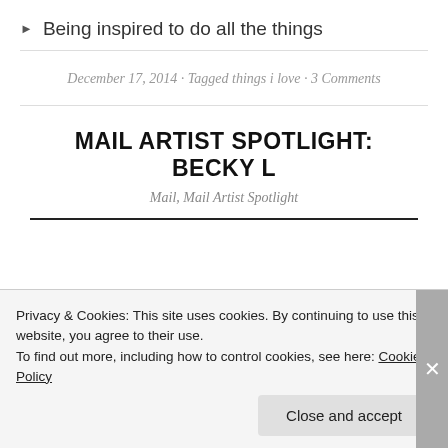▶ Being inspired to do all the things
December 17, 2014 · Tagged things i love · 3 Comments
MAIL ARTIST SPOTLIGHT: BECKY L
Mail, Mail Artist Spotlight
[Figure (photo): Partial view of colorful mail art piece with brown/tan background and colorful elements]
Privacy & Cookies: This site uses cookies. By continuing to use this website, you agree to their use.
To find out more, including how to control cookies, see here: Cookie Policy
Close and accept